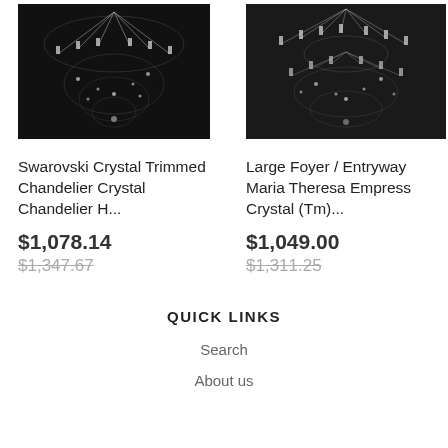[Figure (photo): Black and white photo of a Swarovski crystal trimmed chandelier with many arms and candle lights against dark background]
[Figure (photo): Black and white photo of a large foyer/entryway Maria Theresa Empress Crystal chandelier with multiple tiers against dark background]
Swarovski Crystal Trimmed Chandelier Crystal Chandelier H...
$1,078.14
$1,347.67
Large Foyer / Entryway Maria Theresa Empress Crystal (Tm)...
$1,049.00
$1,311.25
QUICK LINKS
Search
About us